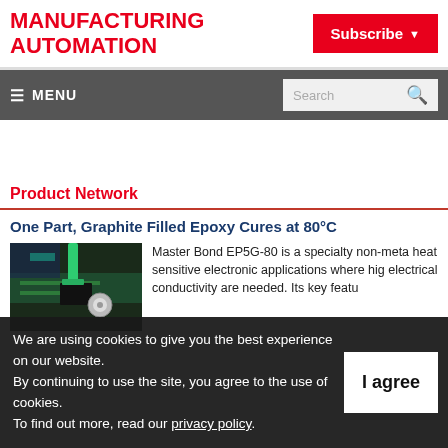MANUFACTURING AUTOMATION
Subscribe
≡ MENU | Search
Product Network
One Part, Graphite Filled Epoxy Cures at 80°C
[Figure (photo): Close-up photo of electronic component with green circuit board and adhesive application]
Master Bond EP5G-80 is a specialty non-meta heat sensitive electronic applications where hig electrical conductivity are needed. Its key featu
We are using cookies to give you the best experience on our website.
By continuing to use the site, you agree to the use of cookies.
To find out more, read our privacy policy.